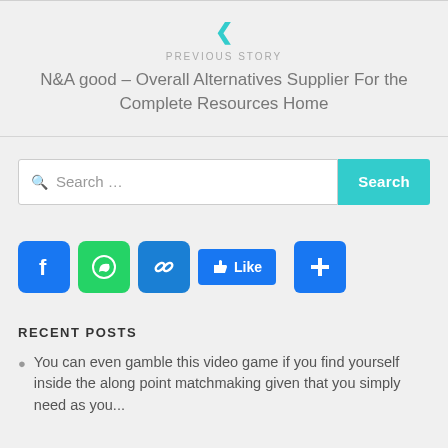< PREVIOUS STORY
N&A good – Overall Alternatives Supplier For the Complete Resources Home
[Figure (infographic): Search bar with text 'Search ...' and a teal 'Search' button on the right]
[Figure (infographic): Social sharing buttons: Facebook (blue f), WhatsApp (green), copy link (blue), Like (blue thumbs up with 'Like' text), and a blue plus button]
RECENT POSTS
You can even gamble this video game if you find yourself inside the along point matchmaking given that you simply need as you...